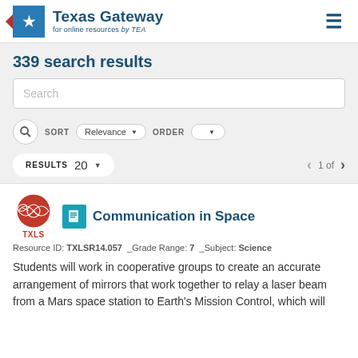[Figure (logo): Texas Gateway for online resources by TEA logo with star icon]
339 search results
Search
SORT Relevance ORDER
RESULTS 20   1 of
Communication in Space
Resource ID: TXLSR14.057  _Grade Range: 7  _Subject: Science
Students will work in cooperative groups to create an accurate arrangement of mirrors that work together to relay a laser beam from a Mars space station to Earth's Mission Control, which will